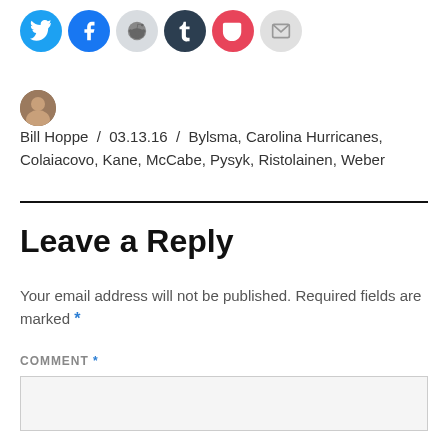[Figure (other): Row of social sharing icon circles: Twitter (blue), Facebook (blue), Reddit (light grey), Tumblr (dark navy), Pocket (red), Email (light grey)]
Bill Hoppe / 03.13.16 / Bylsma, Carolina Hurricanes, Colaiacovo, Kane, McCabe, Pysyk, Ristolainen, Weber
Leave a Reply
Your email address will not be published. Required fields are marked *
COMMENT *